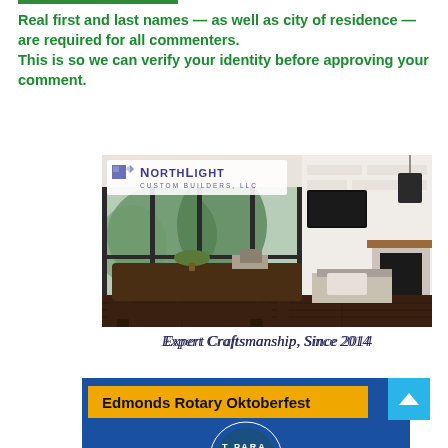Real first and last names — as well as city of residence — are required for all commenters. This is so we can verify your identity before approving your comment.
[Figure (photo): NorthLight Custom Builders LLC advertisement showing an interior living/dining room with dark wood dining table, bench seating, large windows with green trees outside, white brick fireplace, mounted TV, and exposed wood beam ceiling. NorthLight Custom Builders LLC logo in upper left.]
Expert Craftsmanship, Since 2014
[Figure (infographic): Edmonds Rotary Oktoberfest advertisement with blue background and orange/yellow banner reading 'Edmonds Rotary Oktoberfest' and a partial circular parade badge at bottom.]